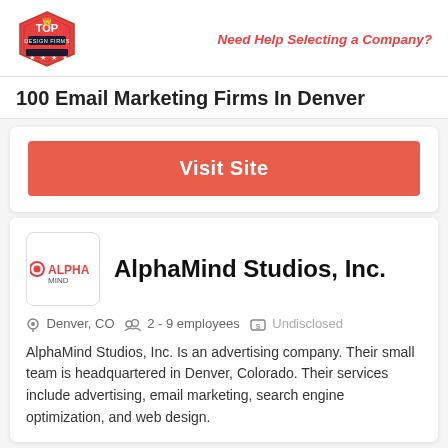Top Design Firms logo | Need Help Selecting a Company?
100 Email Marketing Firms In Denver
Visit Site
AlphaMind Studios, Inc.
Denver, CO   2 - 9 employees   Undisclosed
AlphaMind Studios, Inc. Is an advertising company. Their small team is headquartered in Denver, Colorado. Their services include advertising, email marketing, search engine optimization, and web design.